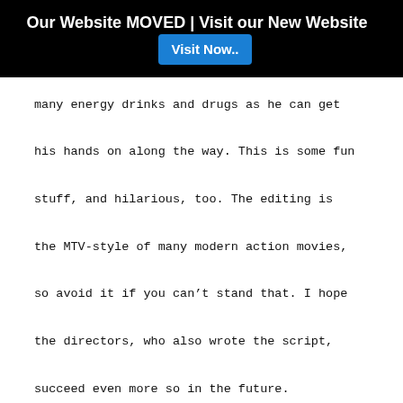Our Website MOVED | Visit our New Website  Visit Now..
many energy drinks and drugs as he can get his hands on along the way. This is some fun stuff, and hilarious, too. The editing is the MTV-style of many modern action movies, so avoid it if you can't stand that. I hope the directors, who also wrote the script, succeed even more so in the future.
Movie Info
| Full Name | Crank Movie |
| --- | --- |